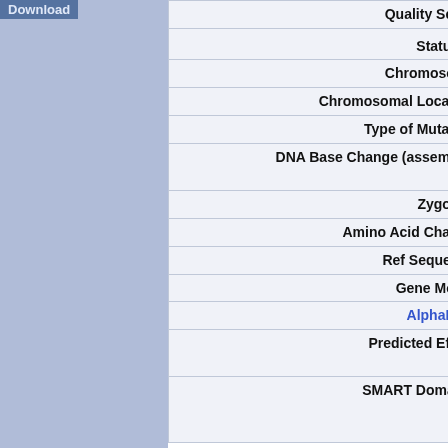| Field | Value |
| --- | --- |
| Quality Score | 22 |
| Status ® | Va... |
| Chromosome | 19 |
| Chromosomal Location | 89... |
| Type of Mutation | mi... |
| DNA Base Change (assembly) | T t... |
| Zygosity | He... |
| Amino Acid Change | As... |
| Ref Sequence | EN... |
| Gene Model | pre... |
| AlphaFold | no... |
| Predicted Effect | pre... Tra... |
| SMART Domains | Pro... Ge... |